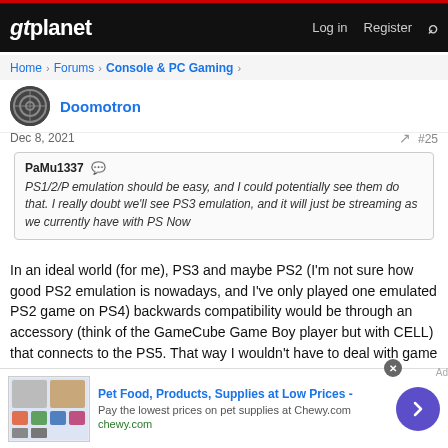gtplanet | Log in | Register
Home > Forums > Console & PC Gaming >
Doomotron
Dec 8, 2021  #25
PaMu1337
PS1/2/P emulation should be easy, and I could potentially see them do that. I really doubt we'll see PS3 emulation, and it will just be streaming as we currently have with PS Now
In an ideal world (for me), PS3 and maybe PS2 (I'm not sure how good PS2 emulation is nowadays, and I've only played one emulated PS2 game on PS4) backwards compatibility would be through an accessory (think of the GameCube Game Boy player but with CELL) that connects to the PS5. That way I wouldn't have to deal with game streaming and have to pay a monthly fee to rent a game I already
[Figure (screenshot): Advertisement banner: Pet Food, Products, Supplies at Low Prices - Chewy.com]